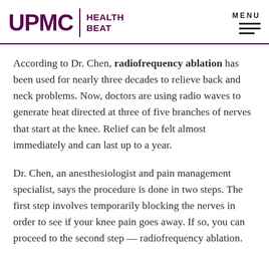UPMC | HEALTH BEAT
According to Dr. Chen, radiofrequency ablation has been used for nearly three decades to relieve back and neck problems. Now, doctors are using radio waves to generate heat directed at three of five branches of nerves that start at the knee. Relief can be felt almost immediately and can last up to a year.
Dr. Chen, an anesthesiologist and pain management specialist, says the procedure is done in two steps. The first step involves temporarily blocking the nerves in order to see if your knee pain goes away. If so, you can proceed to the second step — radiofrequency ablation.